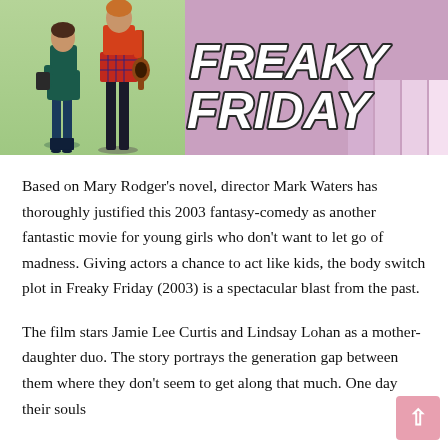[Figure (photo): Movie poster for Freaky Friday (2003) showing two female figures (mother and daughter) on a green background on the left, and the text 'FREAKY FRIDAY' in large bold white letters on a purple/pink gradient background on the right with vertical color stripes.]
Based on Mary Rodger’s novel, director Mark Waters has thoroughly justified this 2003 fantasy-comedy as another fantastic movie for young girls who don’t want to let go of madness. Giving actors a chance to act like kids, the body switch plot in Freaky Friday (2003) is a spectacular blast from the past.
The film stars Jamie Lee Curtis and Lindsay Lohan as a mother-daughter duo. The story portrays the generation gap between them where they don’t seem to get along that much. One day their souls